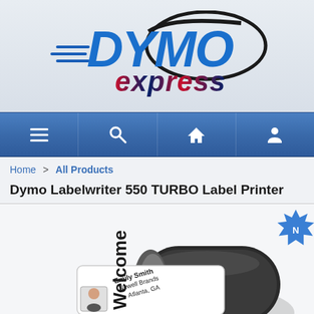[Figure (logo): DYMO Express logo — large blue DYMO text with swoosh, smaller red/UK-flag 'express' text underneath, speed lines on left]
[Figure (screenshot): Navigation bar with hamburger menu, search, home, and account icons on blue gradient background]
Home  >  All Products
Dymo Labelwriter 550 TURBO Label Printer
[Figure (photo): Dymo Labelwriter 550 Turbo label printer — black and grey device with a printed label showing Welcome Emily Smith Newell Brands Atlanta GA with a small photo, plus a blue starburst badge in top right corner]